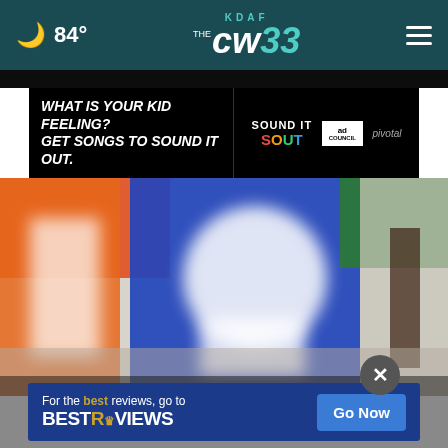🌙 84° | KDAF THE CW 33
[Figure (screenshot): Advertisement banner: 'WHAT IS YOUR KID FEELING? GET SONGS TO SOUND IT OUT.' with Sound It Out logo, Ad Council and Pivotal logos on black background]
[Figure (photo): Close-up blurry photo of colorful background (red, orange, blue, green) with white letter shapes, appears to be a Google logo or similar colorful lettering]
[Figure (screenshot): Advertisement: 'For the best reviews, go to BESTREVIEWS' with a 'Go Now' blue button on dark blue background]